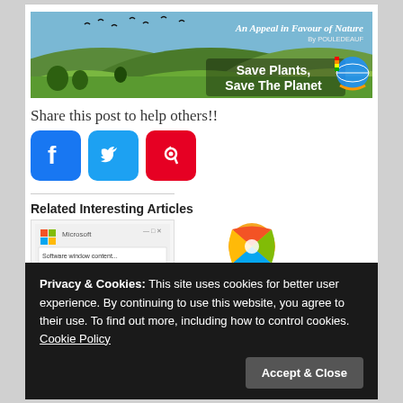[Figure (illustration): Banner image: green rolling hills with birds in sky and text 'An Appeal in Favour of Nature by POULEDEAUF' and 'Save Plants, Save The Planet' with earth/hands icon]
Share this post to help others!!
[Figure (infographic): Three social media share buttons: Facebook (blue), Twitter (blue), Pinterest (red)]
Related Interesting Articles
[Figure (screenshot): Thumbnail of Microsoft software screenshot]
[Figure (illustration): Thumbnail of Windows/Office logo]
Any Software
Professional Plus 2010
Privacy & Cookies: This site uses cookies for better user experience. By continuing to use this website, you agree to their use. To find out more, including how to control cookies. Cookie Policy
Accept & Close